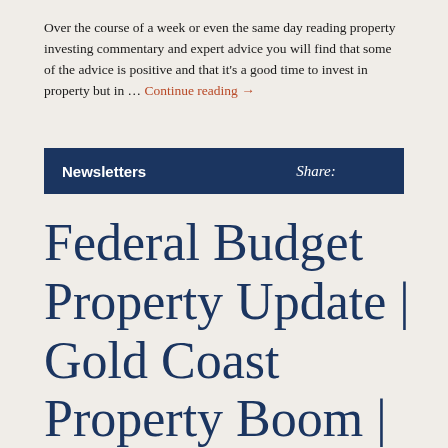Over the course of a week or even the same day reading property investing commentary and expert advice you will find that some of the advice is positive and that it's a good time to invest in property but in … Continue reading →
Newsletters    Share:
Federal Budget Property Update | Gold Coast Property Boom | Brisbane Gets More Affordable | Melbourne's Record Median Price |